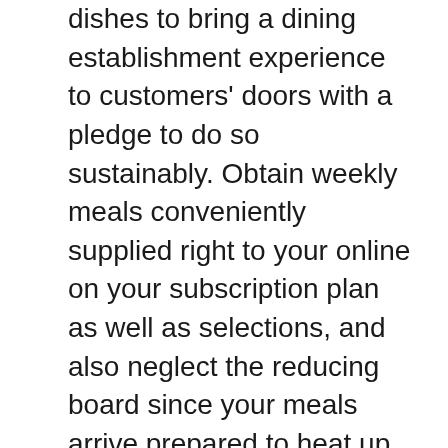dishes to bring a dining establishment experience to customers' doors with a pledge to do so sustainably. Obtain weekly meals conveniently supplied right to your online on your subscription plan as well as selections, and also neglect the reducing board since your meals arrive prepared to heat up when you are. This distinct experience is offered you by CEO and founder Mateo Marietti, that began CookUnity in 2015 with head chef Lucia Cisilotto. The company has a recurring collaboration with and also donation to the Food Bank of New York City, to address and enhance the food instability of families across the 5 districts.
CookUnity prides itself on its goal to supply a